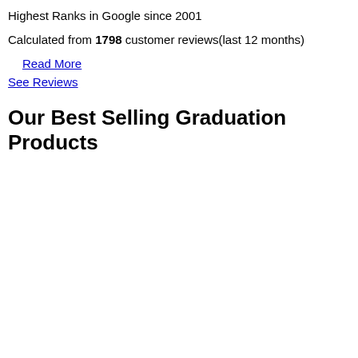Highest Ranks in Google since 2001
Calculated from 1798 customer reviews(last 12 months)
Read More
See Reviews
Our Best Selling Graduation Products